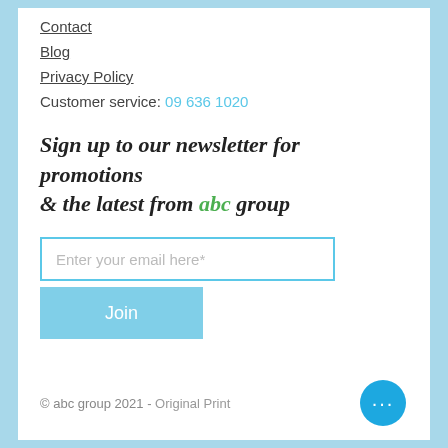Contact
Blog
Privacy Policy
Customer service: 09 636 1020
Sign up to our newsletter for promotions & the latest from abc group
[Figure (other): Email input field with placeholder text 'Enter your email here*' and a light blue border, followed by a light blue 'Join' button]
© abc group 2021 - Original Print